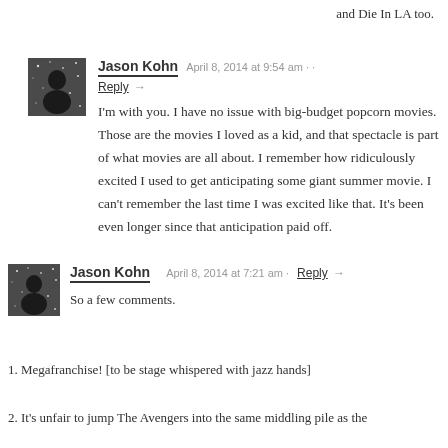and Die In LA too.
Jason Kohn   April 8, 2014 at 9:54 am · ·
Reply →
I'm with you. I have no issue with big-budget popcorn movies. Those are the movies I loved as a kid, and that spectacle is part of what movies are all about. I remember how ridiculously excited I used to get anticipating some giant summer movie. I can't remember the last time I was excited like that. It's been even longer since that anticipation paid off.
Jason Kohn   April 8, 2014 at 7:21 am · Reply →
So a few comments.
1. Megafranchise! [to be stage whispered with jazz hands]
2. It's unfair to jump The Avengers into the same middling pile as the